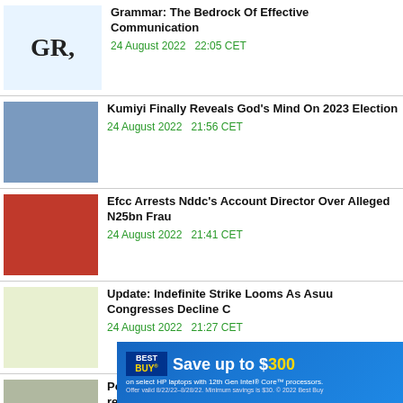Grammar: The Bedrock Of Effective Communication
24 August 2022   22:05 CET
Kumiyi Finally Reveals God's Mind On 2023 Election
24 August 2022   21:56 CET
Efcc Arrests Nddc's Account Director Over Alleged N25bn Frau
24 August 2022   21:41 CET
Update: Indefinite Strike Looms As Asuu Congresses Decline C
24 August 2022   21:27 CET
Police Confirms The Tragedy Caused By Inter-religion
[Figure (infographic): Best Buy advertisement banner: Save up to $300 on select HP laptops with 12th Gen Intel Core processors.]